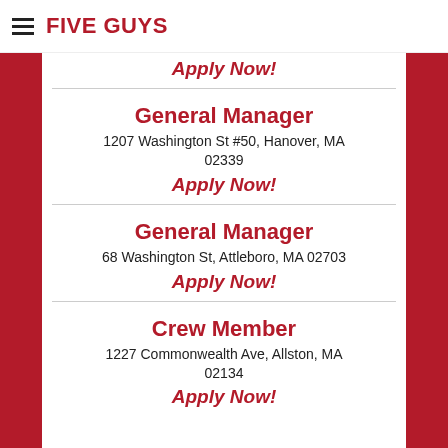FIVE GUYS
Apply Now!
General Manager
1207 Washington St #50, Hanover, MA 02339
Apply Now!
General Manager
68 Washington St, Attleboro, MA 02703
Apply Now!
Crew Member
1227 Commonwealth Ave, Allston, MA 02134
Apply Now!